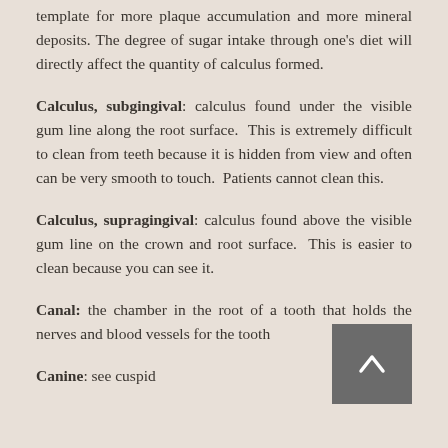template for more plaque accumulation and more mineral deposits. The degree of sugar intake through one's diet will directly affect the quantity of calculus formed.
Calculus, subgingival: calculus found under the visible gum line along the root surface. This is extremely difficult to clean from teeth because it is hidden from view and often can be very smooth to touch. Patients cannot clean this.
Calculus, supragingival: calculus found above the visible gum line on the crown and root surface. This is easier to clean because you can see it.
Canal: the chamber in the root of a tooth that holds the nerves and blood vessels for the tooth
Canine: see cuspid